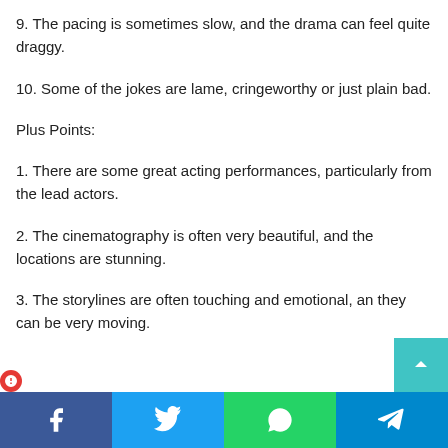9. The pacing is sometimes slow, and the drama can feel quite draggy.
10. Some of the jokes are lame, cringeworthy or just plain bad.
Plus Points:
1. There are some great acting performances, particularly from the lead actors.
2. The cinematography is often very beautiful, and the locations are stunning.
3. The storylines are often touching and emotional, and they can be very moving.